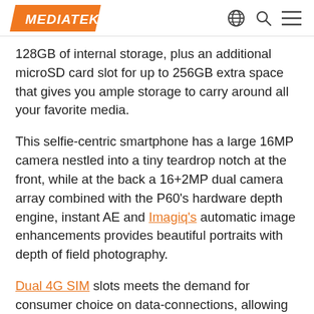MediaTek
128GB of internal storage, plus an additional microSD card slot for up to 256GB extra space that gives you ample storage to carry around all your favorite media.
This selfie-centric smartphone has a large 16MP camera nestled into a tiny teardrop notch at the front, while at the back a 16+2MP dual camera array combined with the P60's hardware depth engine, instant AE and Imagiq's automatic image enhancements provides beautiful portraits with depth of field photography.
Dual 4G SIM slots meets the demand for consumer choice on data-connections, allowing users to choose which SIM to use for VoLTE or ViLTE calls or to...